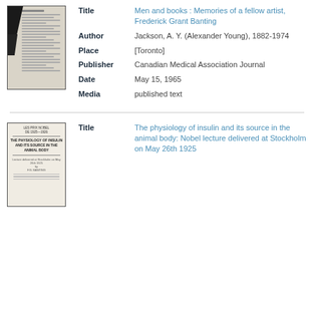[Figure (photo): Thumbnail of a printed document page, partially shadowed on the left edge with a black area, showing dense text columns.]
| Field | Value |
| --- | --- |
| Title | Men and books : Memories of a fellow artist, Frederick Grant Banting |
| Author | Jackson, A. Y. (Alexander Young), 1882-1974 |
| Place | [Toronto] |
| Publisher | Canadian Medical Association Journal |
| Date | May 15, 1965 |
| Media | published text |
[Figure (photo): Thumbnail of a printed booklet cover with text 'LES PRIX NOBEL', 'THE PHYSIOLOGY OF INSULIN AND ITS SOURCE IN THE ANIMAL BODY', and author name.]
| Field | Value |
| --- | --- |
| Title | The physiology of insulin and its source in the animal body: Nobel lecture delivered at Stockholm on May 26th 1925 |